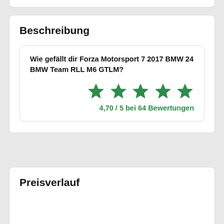Beschreibung
Wie gefällt dir Forza Motorsport 7 2017 BMW 24 BMW Team RLL M6 GTLM?
4,70 / 5 bei 64 Bewertungen
Preisverlauf